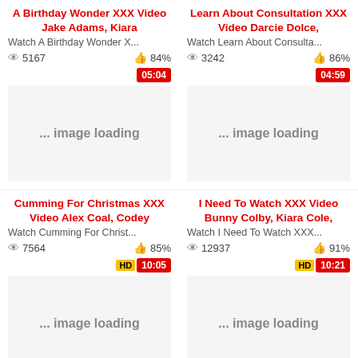A Birthday Wonder XXX Video Jake Adams, Kiara
Watch A Birthday Wonder X...
5167 views · 84% likes
05:04
[Figure (photo): ... image loading placeholder]
Learn About Consultation XXX Video Darcie Dolce,
Watch Learn About Consulta...
3242 views · 86% likes
04:59
[Figure (photo): ... image loading placeholder]
Cumming For Christmas XXX Video Alex Coal, Codey
Watch Cumming For Christ...
7564 views · 85% likes
HD 10:05
[Figure (photo): ... image loading placeholder]
I Need To Watch XXX Video Bunny Colby, Kiara Cole,
Watch I Need To Watch XXX...
12937 views · 91% likes
HD 10:21
[Figure (photo): ... image loading placeholder]
Cum4K XXX Video Cum In The Again
Exotic4K XXX Video Rainy Chains